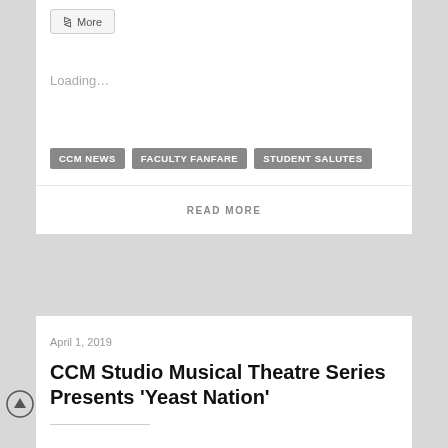More
Loading...
CCM NEWS   FACULTY FANFARE   STUDENT SALUTES
READ MORE
April 1, 2019
CCM Studio Musical Theatre Series Presents 'Yeast Nation'